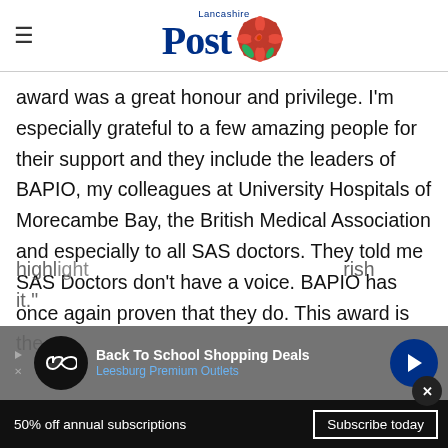Lancashire Post
award was a great honour and privilege. I'm especially grateful to a few amazing people for their support and they include the leaders of BAPIO, my colleagues at University Hospitals of Morecambe Bay, the British Medical Association and especially to all SAS doctors. They told me SAS Doctors don't have a voice. BAPIO has once again proven that they do. This award is the highlight... cherish it."
[Figure (other): Advertisement banner: Back To School Shopping Deals – Leesburg Premium Outlets, with logo circle and arrow icon]
50% off annual subscriptions   Subscribe today